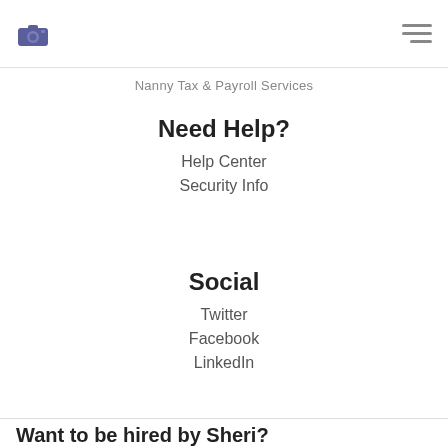Nanny Tax & Payroll Services
Need Help?
Help Center
Security Info
Social
Twitter
Facebook
LinkedIn
Want to be hired by Sheri?
Apply now